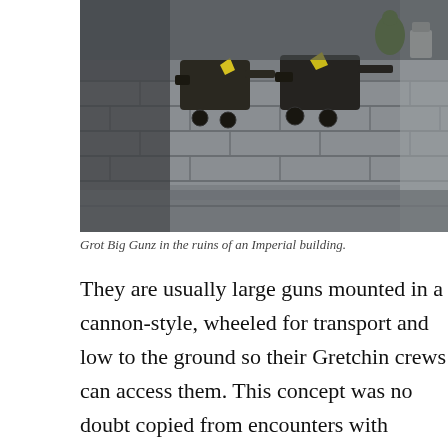[Figure (photo): Grot Big Gunz miniatures positioned in the ruins of an Imperial building, shot from above showing dark artillery pieces on grey stone terrain.]
Grot Big Gunz in the ruins of an Imperial building.
They are usually large guns mounted in a cannon-style, wheeled for transport and low to the ground so their Gretchin crews can access them. This concept was no doubt copied from encounters with Imperial artillery units, but Big Guns teams are far less disciplined then their Imperial counterparts. Big Gunz are used to pound enemy lines into submission and destroy enemy vehicles from a distance as Boyz close in.